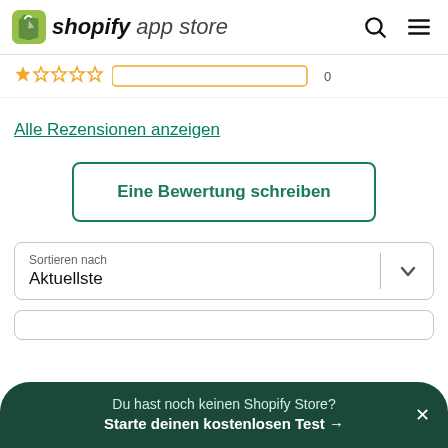shopify app store
[Figure (screenshot): Star rating row with orange stars and a rating input field, partially visible at top]
Alle Rezensionen anzeigen
Eine Bewertung schreiben
Sortieren nach
Aktuellste
Du hast noch keinen Shopify Store? Starte deinen kostenlosen Test →